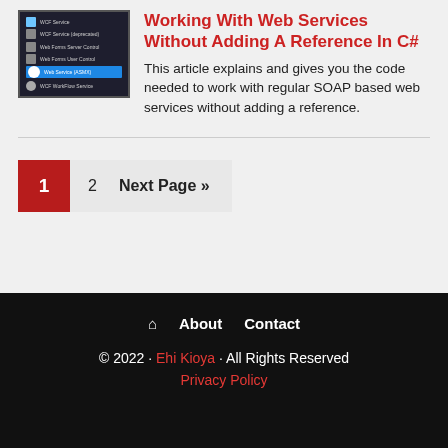[Figure (screenshot): Screenshot of a Visual Studio or IDE menu showing items: WCF Service, WCF Service (deprecated), Web Forms Server Control, Web Forms User Control, Web Service (ASMX) highlighted in blue, WCF WorkFlow Service]
Working With Web Services Without Adding A Reference In C#
This article explains and gives you the code needed to work with regular SOAP based web services without adding a reference.
1
2
Next Page »
🏠  About  Contact
© 2022 · Ehi Kioya · All Rights Reserved
Privacy Policy